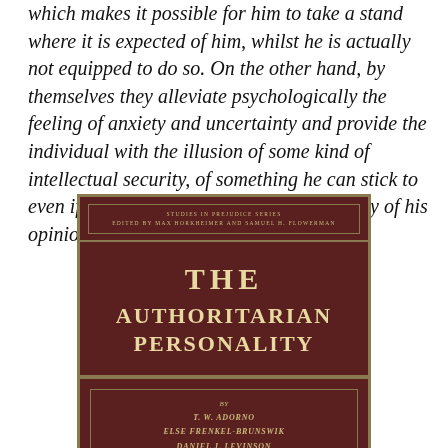which makes it possible for him to take a stand where it is expected of him, whilst he is actually not equipped to do so. On the other hand, by themselves they alleviate psychologically the feeling of anxiety and uncertainty and provide the individual with the illusion of some kind of intellectual security, of something he can stick to even if he feels, underneath, the inadequacy of his opinions.
[Figure (photo): Book cover of 'The Authoritarian Personality' by T.W. Adorno, Else Frenkel-Brunswik, Daniel J. Levinson, and R. Nevitt Sanford. Part of the Studies in Prejudice Series edited by Max Horkheimer and Samuel H. Flowerman. Dark brown cover with gold/tan text and decorative borders.]